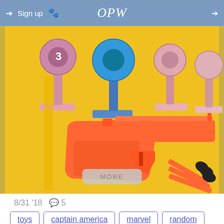Sign up  OPW
[Figure (photo): Orange plastic toy gun with black suction-cup darts and colorful target stands on a yellow blister pack background.]
MORE
8/31 '18  💬 5
toys
captain america
marvel
random
funny
marketing